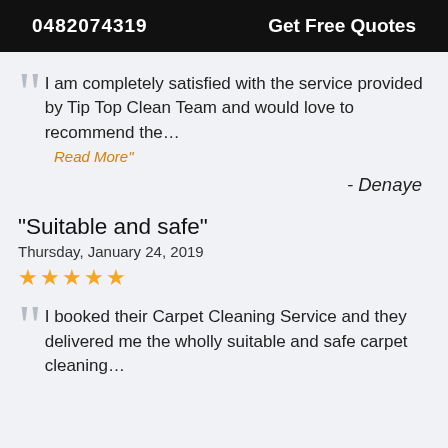0482074319   Get Free Quotes
I am completely satisfied with the service provided by Tip Top Clean Team and would love to recommend the…
Read More"
- Denaye
"Suitable and safe"
Thursday, January 24, 2019
★★★★★
I booked their Carpet Cleaning Service and they delivered me the wholly suitable and safe carpet cleaning…